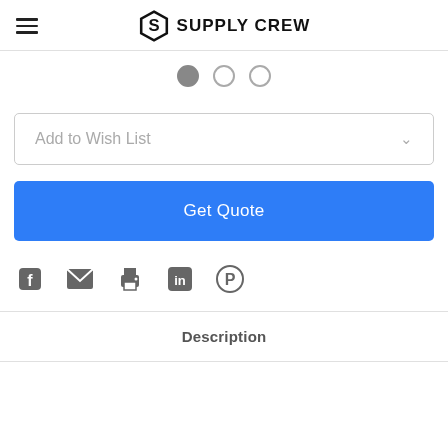Supply Crew
[Figure (other): Pagination dots: 3 circles, first filled/active, second and third empty]
[Figure (other): Add to Wish List dropdown selector]
[Figure (other): Get Quote blue button]
[Figure (other): Social sharing icons: Facebook, Email, Print, LinkedIn, Pinterest]
Description